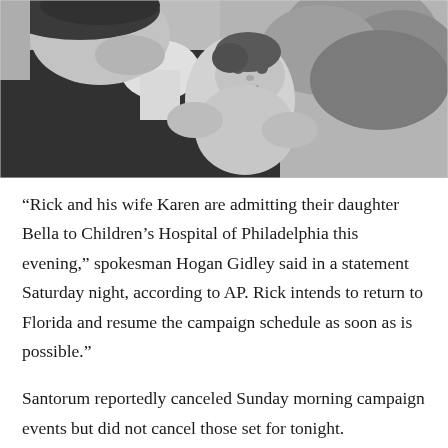[Figure (photo): Black and white photo of a man in a suit holding and looking at a baby, with trees and foliage in the background.]
“Rick and his wife Karen are admitting their daughter Bella to Children’s Hospital of Philadelphia this evening,” spokesman Hogan Gidley said in a statement Saturday night, according to AP. Rick intends to return to Florida and resume the campaign schedule as soon as is possible.”
Santorum reportedly canceled Sunday morning campaign events but did not cancel those set for tonight.